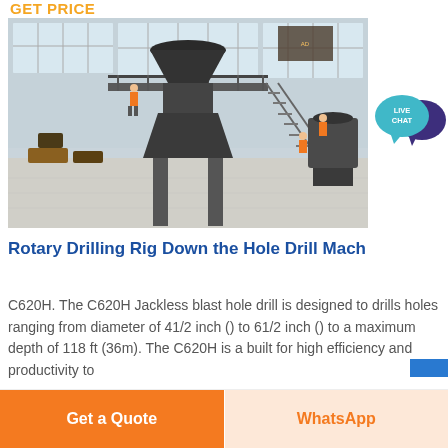GET PRICE
[Figure (photo): Industrial drilling rig or cone crusher machine inside a large factory/warehouse with steel frame structure, staircase, windows, and workers in orange vests visible.]
[Figure (illustration): Live Chat speech bubble icon with teal/cyan circle and dark purple speech bubble behind it, text reads LIVE CHAT]
Rotary Drilling Rig Down the Hole Drill Mach
C620H. The C620H Jackless blast hole drill is designed to drills holes ranging from diameter of 41/2 inch () to 61/2 inch () to a maximum depth of 118 ft (36m). The C620H is a built for high efficiency and productivity to
Get a Quote
WhatsApp